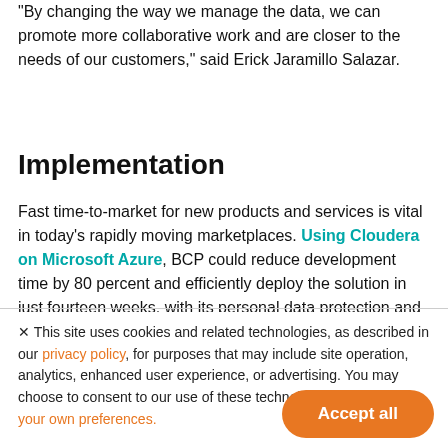“By changing the way we manage the data, we can promote more collaborative work and are closer to the needs of our customers,” said Erick Jaramillo Salazar.
Implementation
Fast time-to-market for new products and services is vital in today’s rapidly moving marketplaces. Using Cloudera on Microsoft Azure, BCP could reduce development time by 80 percent and efficiently deploy the solution in just fourteen weeks, with its personal data protection and security policies replicated in the cloud.
This site uses cookies and related technologies, as described in our privacy policy, for purposes that may include site operation, analytics, enhanced user experience, or advertising. You may choose to consent to our use of these technologies, or manage your own preferences.
Results